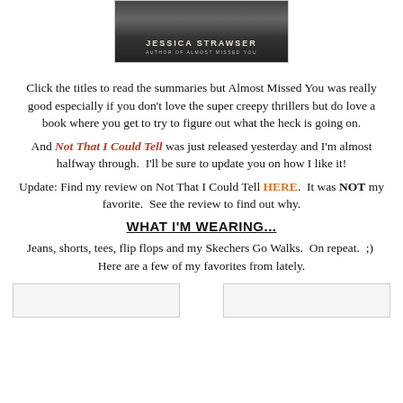[Figure (photo): Book cover for a Jessica Strawser novel, dark background with author name 'JESSICA STRAWSER' and subtitle 'AUTHOR OF ALMOST MISSED YOU']
Click the titles to read the summaries but Almost Missed You was really good especially if you don't love the super creepy thrillers but do love a book where you get to try to figure out what the heck is going on.
And Not That I Could Tell was just released yesterday and I'm almost halfway through.  I'll be sure to update you on how I like it!
Update: Find my review on Not That I Could Tell HERE.  It was NOT my favorite.  See the review to find out why.
WHAT I'M WEARING...
Jeans, shorts, tees, flip flops and my Skechers Go Walks.  On repeat.  ;)  Here are a few of my favorites from lately.
[Figure (photo): Product image placeholder (left)]
[Figure (photo): Product image placeholder (right)]